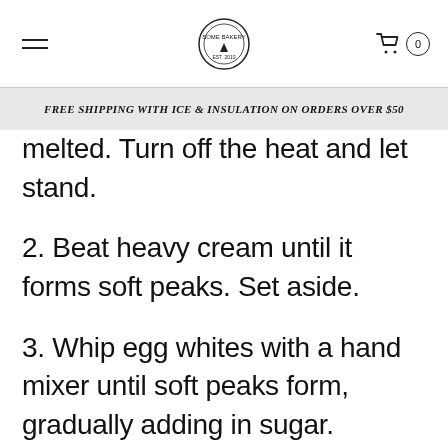FREE SHIPPING WITH ICE & INSULATION ON ORDERS OVER $50
melted. Turn off the heat and let stand.
2. Beat heavy cream until it forms soft peaks. Set aside.
3. Whip egg whites with a hand mixer until soft peaks form, gradually adding in sugar.
4. Using a whisk, fold the tempered